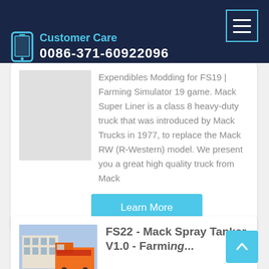Customer Care 0086-371-60922096
Expendibles Modding for FS19 | Farming Simulator 19 game. Mack Super Liner is a class 8 heavy-duty truck that was introduced by Mack Trucks in 1977, to replace the Mack RW (R-Western) model. We present you a great high quality truck from Mack
Learn More
FS22 - Mack Spray Tanker V1.0 - Farming...